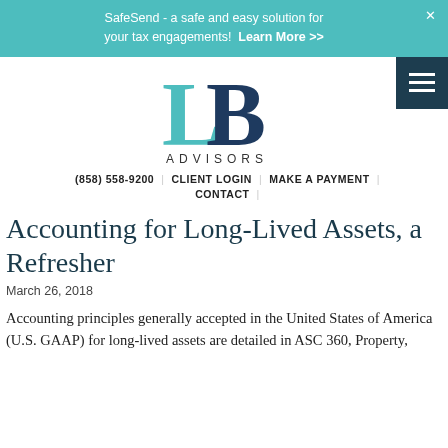SafeSend - a safe and easy solution for your tax engagements! Learn More >>
[Figure (logo): LB Advisors logo — teal L and dark blue B letters with ADVISORS text below]
(858) 558-9200 | CLIENT LOGIN | MAKE A PAYMENT | CONTACT |
Accounting for Long-Lived Assets, a Refresher
March 26, 2018
Accounting principles generally accepted in the United States of America (U.S. GAAP) for long-lived assets are detailed in ASC 360, Property,